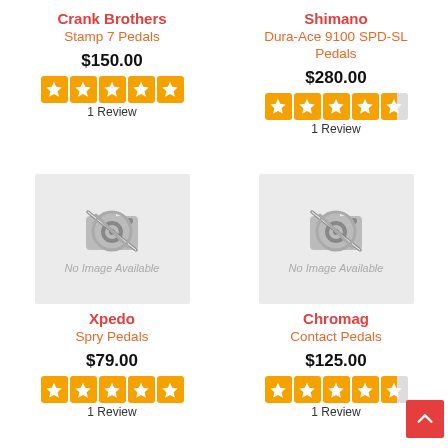Crank Brothers Stamp 7 Pedals
$150.00
1 Review
Shimano Dura-Ace 9100 SPD-SL Pedals
$280.00
1 Review
[Figure (illustration): No image available placeholder with camera icon crossed out]
Xpedo Spry Pedals
$79.00
1 Review
[Figure (illustration): No image available placeholder with camera icon crossed out]
Chromag Contact Pedals
$125.00
1 Review